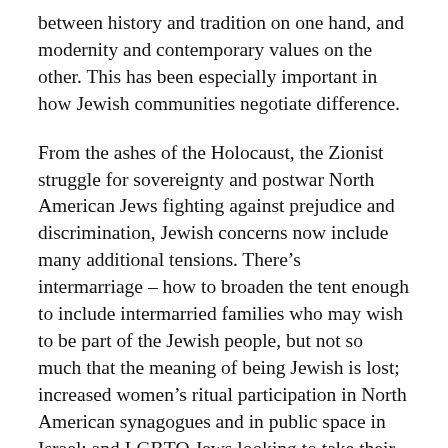between history and tradition on one hand, and modernity and contemporary values on the other. This has been especially important in how Jewish communities negotiate difference.
From the ashes of the Holocaust, the Zionist struggle for sovereignty and postwar North American Jews fighting against prejudice and discrimination, Jewish concerns now include many additional tensions. There’s intermarriage – how to broaden the tent enough to include intermarried families who may wish to be part of the Jewish people, but not so much that the meaning of being Jewish is lost; increased women’s ritual participation in North American synagogues and in public space in Israel; and LGBTQ Jews looking to take their place in Jewish communities. For their part, Israelis struggle – not hard enough, perhaps – to honor their state’s Jewish identity while extending full equality to the